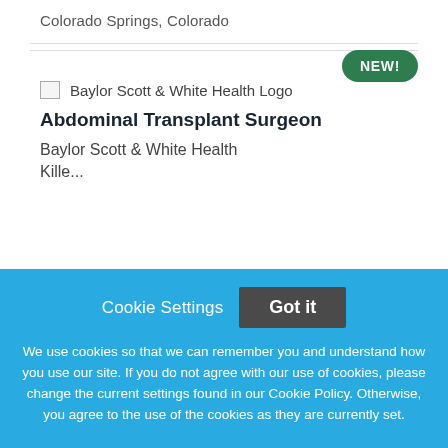Colorado Springs, Colorado
[Figure (logo): Baylor Scott & White Health Logo placeholder image]
Abdominal Transplant Surgeon
Baylor Scott & White Health
Killeen, T...
Cookie Settings
Got it
We use cookies so that we can remember you and understand how you use our site. If you do not agree with our use of cookies, please change the current settings found in our Cookie Policy. Otherwise, you agree to the use of the cookies as they are currently set.